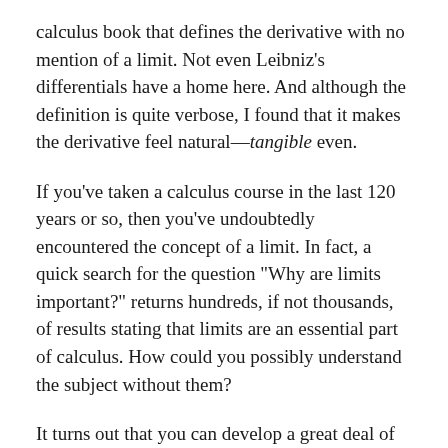calculus book that defines the derivative with no mention of a limit. Not even Leibniz’s differentials have a home here. And although the definition is quite verbose, I found that it makes the derivative feel natural—tangible even.
If you’ve taken a calculus course in the last 120 years or so, then you’ve undoubtedly encountered the concept of a limit. In fact, a quick search for the question “Why are limits important?” returns hundreds, if not thousands, of results stating that limits are an essential part of calculus. How could you possibly understand the subject without them?
It turns out that you can develop a great deal of calculus—at least the entire first-year curriculum—without